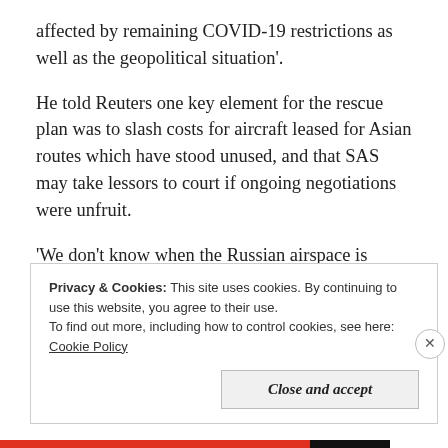affected by remaining COVID-19 restrictions as well as the geopolitical situation'.
He told Reuters one key element for the rescue plan was to slash costs for aircraft leased for Asian routes which have stood unused, and that SAS may take lessors to court if ongoing negotiations were unfruit.
'We don't know when the Russian airspace is going to open again and we cannot pay for those aircraft
Privacy & Cookies: This site uses cookies. By continuing to use this website, you agree to their use.
To find out more, including how to control cookies, see here: Cookie Policy
Close and accept